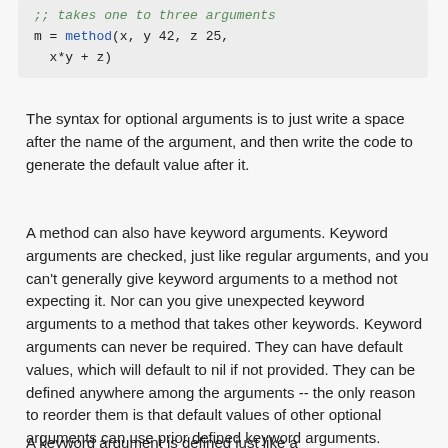[Figure (screenshot): Code block showing: comment '; takes one to three arguments', then 'm = method(x, y 42, z 25, x*y + z)']
The syntax for optional arguments is to just write a space after the name of the argument, and then write the code to generate the default value after it.
A method can also have keyword arguments. Keyword arguments are checked, just like regular arguments, and you can't generally give keyword arguments to a method not expecting it. Nor can you give unexpected keyword arguments to a method that takes other keywords. Keyword arguments can never be required. They can have default values, which will default to nil if not provided. They can be defined anywhere among the arguments -- the only reason to reorder them is that default values of other optional arguments can use prior defined keyword arguments.
A keyword argument is defined just like a